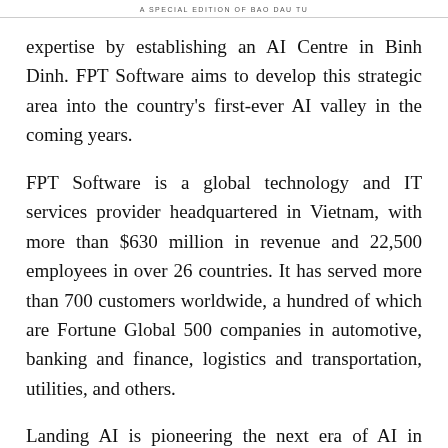A SPECIAL EDITION OF BAO DAU TU
expertise by establishing an AI Centre in Binh Dinh. FPT Software aims to develop this strategic area into the country's first-ever AI valley in the coming years.
FPT Software is a global technology and IT services provider headquartered in Vietnam, with more than $630 million in revenue and 22,500 employees in over 26 countries. It has served more than 700 customers worldwide, a hundred of which are Fortune Global 500 companies in automotive, banking and finance, logistics and transportation, utilities, and others.
Landing AI is pioneering the next era of AI in which companies with limited data sets can realise the full business and operational value of this technology.